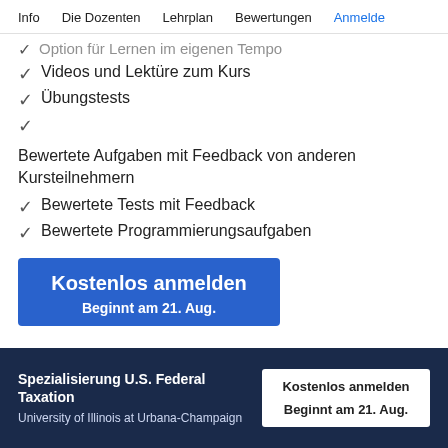Info   Die Dozenten   Lehrplan   Bewertungen   Anmelde
Option für Lernen im eigenen Tempo
Videos und Lektüre zum Kurs
Übungstests
Bewertete Aufgaben mit Feedback von anderen Kursteilnehmern
Bewertete Tests mit Feedback
Bewertete Programmierungsaufgaben
Kostenlos anmelden
Beginnt am 21. Aug.
Spezialisierung U.S. Federal Taxation
University of Illinois at Urbana-Champaign
Kostenlos anmelden
Beginnt am 21. Aug.